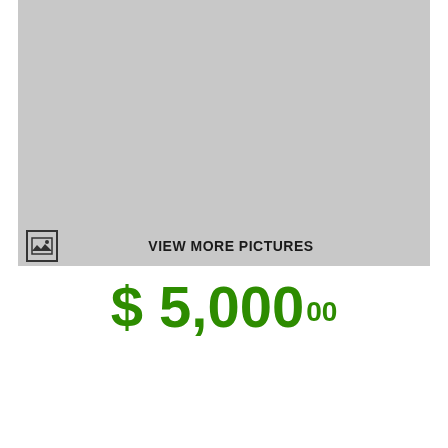[Figure (photo): Gray placeholder image area with VIEW MORE PICTURES label and image icon]
$ 5,000 00
1251 views   Condition: Used
BID NOW